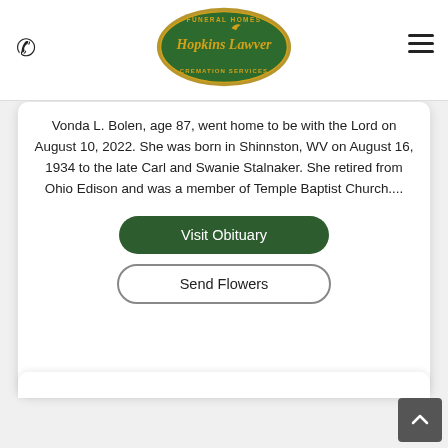[Figure (logo): Hopkins Lawver Funeral Homes Cremation Services oval green logo with gold script text and bird]
Vonda L. Bolen, age 87, went home to be with the Lord on August 10, 2022. She was born in Shinnston, WV on August 16, 1934 to the late Carl and Swanie Stalnaker. She retired from Ohio Edison and was a member of Temple Baptist Church....
Visit Obituary
Send Flowers